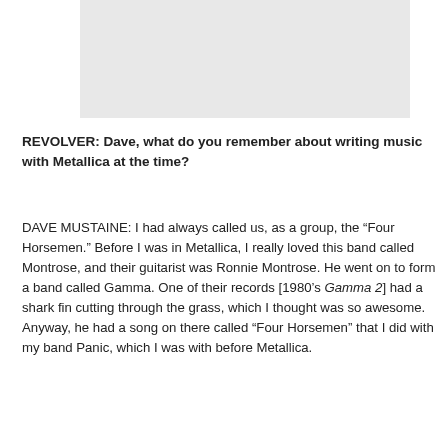[Figure (photo): Gray placeholder image area at the top of the page]
REVOLVER: Dave, what do you remember about writing music with Metallica at the time?
DAVE MUSTAINE: I had always called us, as a group, the “Four Horsemen.” Before I was in Metallica, I really loved this band called Montrose, and their guitarist was Ronnie Montrose. He went on to form a band called Gamma. One of their records [1980’s Gamma 2] had a shark fin cutting through the grass, which I thought was so awesome. Anyway, he had a song on there called “Four Horsemen” that I did with my band Panic, which I was with before Metallica.